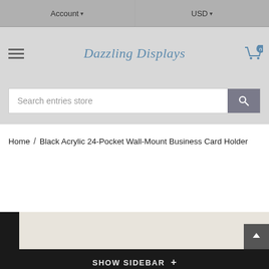Account  USD
[Figure (logo): Dazzling Displays store logo with cart icon and hamburger menu]
Search entries store
Home / Black Acrylic 24-Pocket Wall-Mount Business Card Holder
[Figure (photo): Product image area - Black Acrylic 24-Pocket Wall-Mount Business Card Holder]
SHOW SIDEBAR +